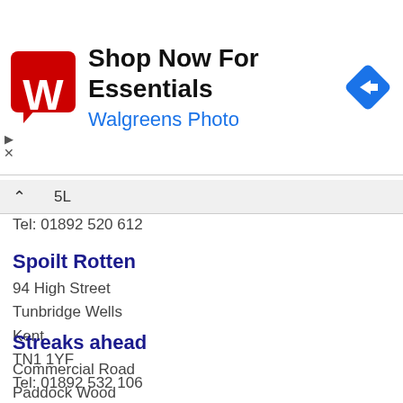[Figure (screenshot): Walgreens advertisement banner with red W logo, text 'Shop Now For Essentials' and 'Walgreens Photo', and blue navigation diamond icon]
5L
Tel: 01892 520 612
Spoilt Rotten
94 High Street
Tunbridge Wells
Kent
TN1 1YF
Tel: 01892 532 106
Streaks ahead
Commercial Road
Paddock Wood
Kent
TN12 6DH
Tel: 07816 644 142